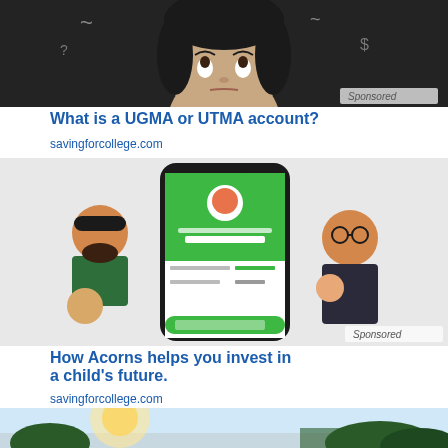[Figure (photo): Sponsored advertisement image: woman looking up with confused expression, dark chalkboard background with swirls and dollar-related doodles. 'Sponsored' watermark in bottom right.]
What is a UGMA or UTMA account?
savingforcollege.com
[Figure (photo): Sponsored advertisement image: Acorns app shown on a smartphone screen displaying 'Early account value for Joshua is $4,103.50'. Illustrated cartoon family figures (father with beard, mother with glasses holding baby, young daughter) surround the phone. Green app interface visible. 'Sponsored' watermark in bottom right.]
How Acorns helps you invest in a child's future.
savingforcollege.com
[Figure (photo): Partial view of a third advertisement showing trees against a bright sky, bottom of the page.]